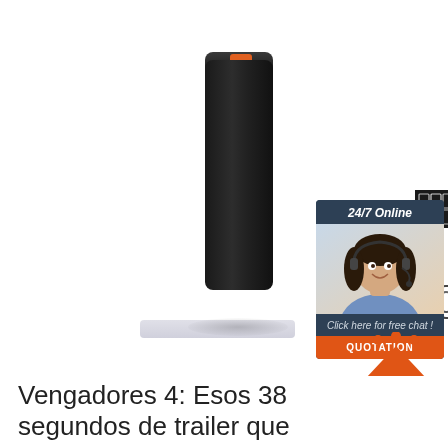[Figure (photo): Black cylindrical electronic device (breathalyzer/power bank) standing upright on a white shelf surface, with a digital display showing three digit segments on the front and a circular button/logo in the middle.]
[Figure (photo): Chat widget banner in dark blue showing '24/7 Online' header, a photo of a smiling woman with a headset, text 'Click here for free chat!', and an orange 'QUOTATION' button.]
[Figure (logo): Orange TOP badge with triangle shape and dots above, text 'TOP' in orange.]
Vengadores 4: Esos 38 segundos de trailer que